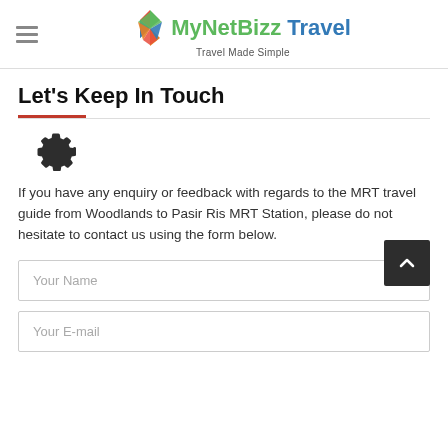[Figure (logo): MyNetBizz Travel logo with colorful diamond icon and tagline 'Travel Made Simple']
Let's Keep In Touch
[Figure (illustration): Gear/settings icon in dark grey]
If you have any enquiry or feedback with regards to the MRT travel guide from Woodlands to Pasir Ris MRT Station, please do not hesitate to contact us using the form below.
Your Name
Your E-mail